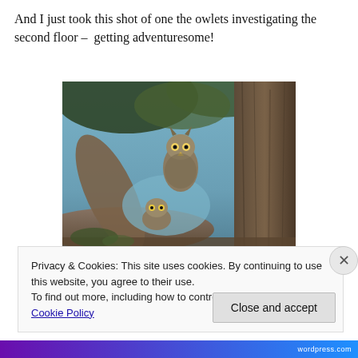And I just took this shot of one the owlets investigating the second floor –  getting adventuresome!
[Figure (photo): An owlet perched on a large tree branch, surrounded by bark and foliage, photographed from below looking up into the tree canopy.]
Privacy & Cookies: This site uses cookies. By continuing to use this website, you agree to their use.
To find out more, including how to control cookies, see here: Cookie Policy
Close and accept